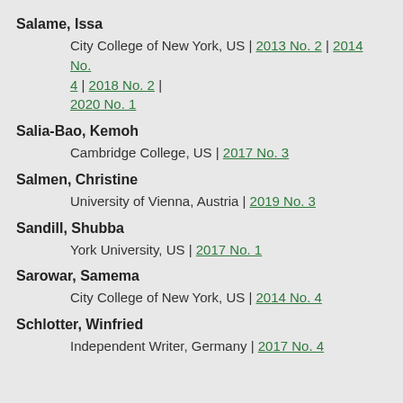Salame, Issa
City College of New York, US | 2013 No. 2 | 2014 No. 4 | 2018 No. 2 | 2020 No. 1
Salia-Bao, Kemoh
Cambridge College, US | 2017 No. 3
Salmen, Christine
University of Vienna, Austria | 2019 No. 3
Sandill, Shubba
York University, US | 2017 No. 1
Sarowar, Samema
City College of New York, US | 2014 No. 4
Schlotter, Winfried
Independent Writer, Germany | 2017 No. 4